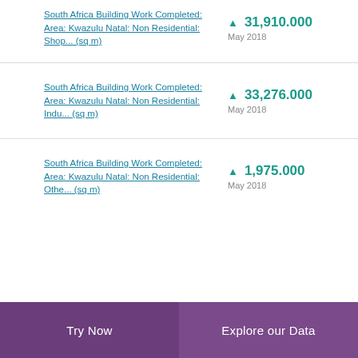South Africa Building Work Completed: Area: Kwazulu Natal: Non Residential: Shop... (sq m)
▲ 31,910.000
May 2018
South Africa Building Work Completed: Area: Kwazulu Natal: Non Residential: Indu... (sq m)
▲ 33,276.000
May 2018
South Africa Building Work Completed: Area: Kwazulu Natal: Non Residential: Othe... (sq m)
▲ 1,975.000
May 2018
Try Now | Explore our Data